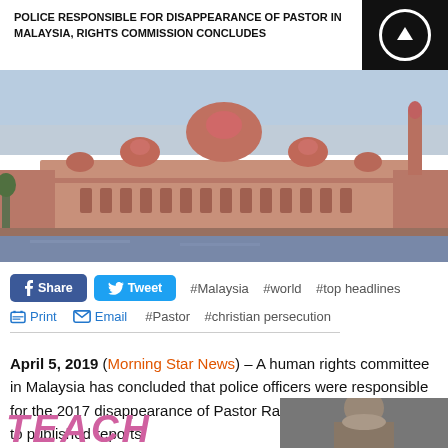POLICE RESPONSIBLE FOR DISAPPEARANCE OF PASTOR IN MALAYSIA, RIGHTS COMMISSION CONCLUDES
[Figure (photo): Photograph of a large pink/red mosque building (likely Putra Mosque in Putrajaya, Malaysia) with domed architecture reflected in water, blue sky background.]
f Share   Tweet   #Malaysia   #world   #top headlines
🖨 Print   ✉ Email   #Pastor   #christian persecution
April 5, 2019 (Morning Star News) – A human rights committee in Malaysia has concluded that police officers were responsible for the 2017 disappearance of Pastor Raymond Koh, according to published reports.
[Figure (photo): Partial view of a person's face/head, bottom of page, cropped.]
TEACH